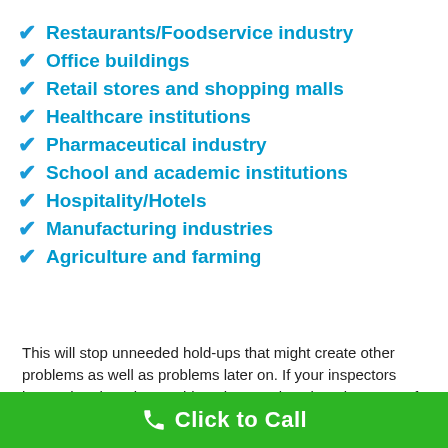Restaurants/Foodservice industry
Office buildings
Retail stores and shopping malls
Healthcare institutions
Pharmaceutical industry
School and academic institutions
Hospitality/Hotels
Manufacturing industries
Agriculture and farming
This will stop unneeded hold-ups that might create other problems as well as problems later on. If your inspectors locate that there is a problem that needs to be taken care of,
Click to Call